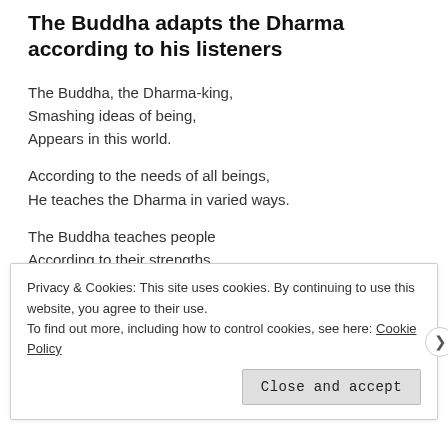The Buddha adapts the Dharma according to his listeners
The Buddha, the Dharma-king,
Smashing ideas of being,
Appears in this world.
According to the needs of all beings,
He teaches the Dharma in varied ways.
The Buddha teaches people
According to their strengths,
Privacy & Cookies: This site uses cookies. By continuing to use this website, you agree to their use.
To find out more, including how to control cookies, see here: Cookie Policy
Close and accept